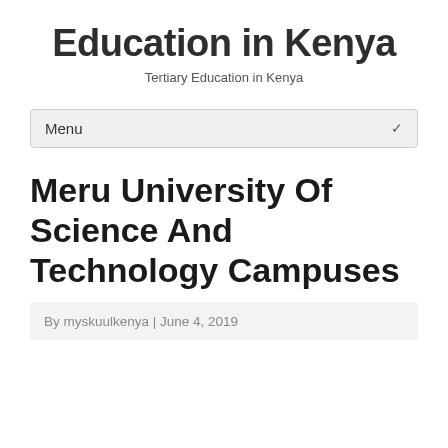Education in Kenya
Tertiary Education in Kenya
Menu
Meru University Of Science And Technology Campuses
By myskuulkenya | June 4, 2019